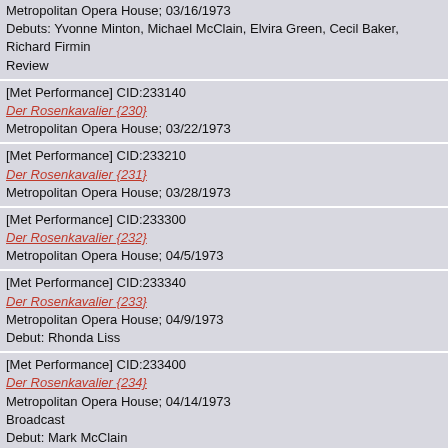Metropolitan Opera House; 03/16/1973
Debuts: Yvonne Minton, Michael McClain, Elvira Green, Cecil Baker, Richard Firmin
Review
[Met Performance] CID:233140
Der Rosenkavalier {230}
Metropolitan Opera House; 03/22/1973
[Met Performance] CID:233210
Der Rosenkavalier {231}
Metropolitan Opera House; 03/28/1973
[Met Performance] CID:233300
Der Rosenkavalier {232}
Metropolitan Opera House; 04/5/1973
[Met Performance] CID:233340
Der Rosenkavalier {233}
Metropolitan Opera House; 04/9/1973
Debut: Rhonda Liss
[Met Performance] CID:233400
Der Rosenkavalier {234}
Metropolitan Opera House; 04/14/1973
Broadcast
Debut: Mark McClain
[Met Performance] CID:233440
Der Rosenkavalier {235}
Metropolitan Opera House; 04/18/1973
Top of Page